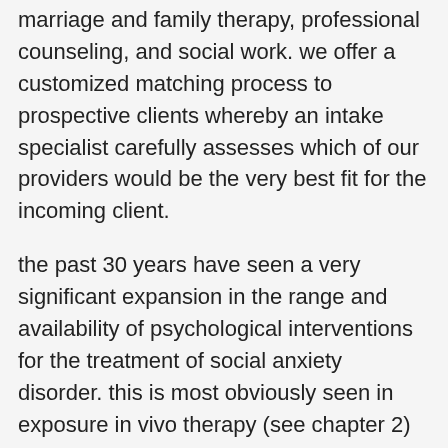marriage and family therapy, professional counseling, and social work. we offer a customized matching process to prospective clients whereby an intake specialist carefully assesses which of our providers would be the very best fit for the incoming client.
the past 30 years have seen a very significant expansion in the range and availability of psychological interventions for the treatment of social anxiety disorder. this is most obviously seen in exposure in vivo therapy (see chapter 2) and the development of a range of cognitive and cognitive behavioural interventions, for which there is substantial evidence for the treatment of social anxiety disorder and other anxiety disorders. starting with training in traditional progressive muscle relaxation, the treatment takes individuals through a series of steps that enables them to relax on cue in everyday situations. in the first phase, the person is encouraged to see social anxiety disorder as an illness that has to be coped with rather than